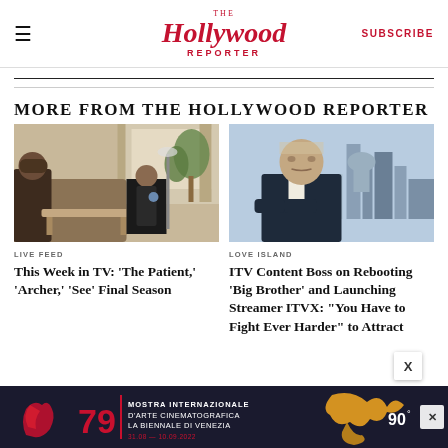The Hollywood Reporter — SUBSCRIBE
MORE FROM THE HOLLYWOOD REPORTER
[Figure (photo): Two people in a living room interior, one seated on sofa in foreground, another in background chair near window with plants]
LIVE FEED
This Week in TV: 'The Patient,' 'Archer,' 'See' Final Season
[Figure (photo): Man in dark suit with arms crossed, London city skyline in background]
LOVE ISLAND
ITV Content Boss on Rebooting 'Big Brother' and Launching Streamer ITVX: "You Have to Fight Ever Harder" to Attract
[Figure (other): Advertisement banner: Mostra Internazionale d'Arte Cinematografica La Biennale di Venezia 79, 31.08-10.09.2022, 90 degrees logo]